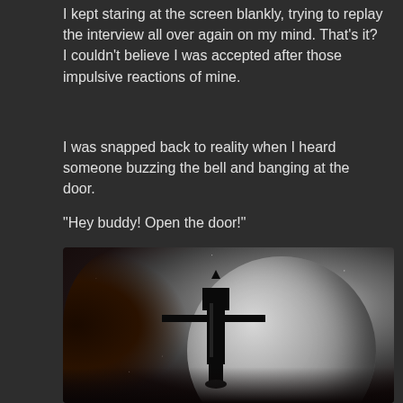I kept staring at the screen blankly, trying to replay the interview all over again on my mind. That’s it? I couldn’t believe I was accepted after those impulsive reactions of mine.
I was snapped back to reality when I heard someone buzzing the bell and banging at the door.
“Hey buddy! Open the door!”
[Figure (illustration): A science fiction illustration showing a spacecraft silhouetted against a large moon in space, with a dark reddish-brown nebula or space environment in the background. Stars are visible in the scene.]